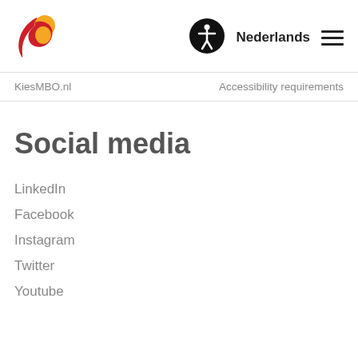[Figure (logo): KiesMBO logo with stylized 'b' shape in red, yellow, and orange colors]
[Figure (logo): Accessibility icon - person with arms out in a black circle]
Nederlands
KiesMBO.nl
Accessibility requirements
Social media
LinkedIn
Facebook
Instagram
Twitter
Youtube